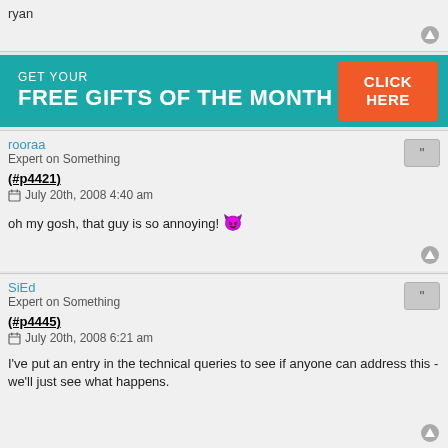ryan
[Figure (infographic): Banner ad: GET YOUR FREE GIFTS OF THE MONTH with a CLICK HERE orange button on teal background]
rooraa
Expert on Something
(#p4421)
July 20th, 2008 4:40 am

oh my gosh, that guy is so annoying! 😈
SiEd
Expert on Something
(#p4445)
July 20th, 2008 6:21 am

I've put an entry in the technical queries to see if anyone can address this - we'll just see what happens.